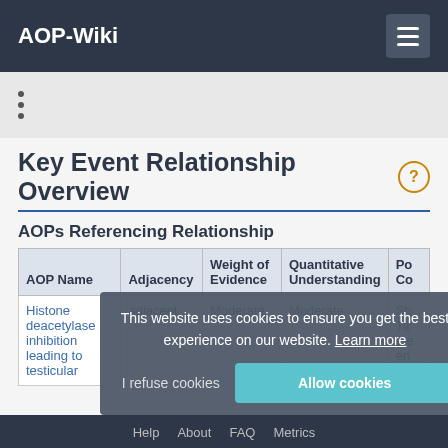AOP-Wiki
Key Event Relationship Overview
AOPs Referencing Relationship
| AOP Name | Adjacency | Weight of Evidence | Quantitative Understanding | Po... Co... |
| --- | --- | --- | --- | --- |
| Histone deacetylase inhibition leading to testicular | adjacent | Moderate | Moderate | Sh... Ta... (se... en... |
This website uses cookies to ensure you get the best experience on our website. Learn more
Help   About   FAQ   Metrics